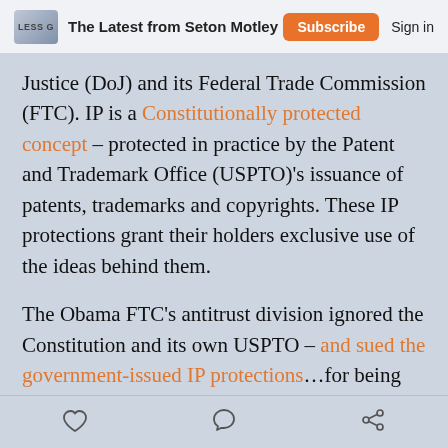The Latest from Seton Motley | Subscribe | Sign in
Justice (DoJ) and its Federal Trade Commission (FTC). IP is a Constitutionally protected concept – protected in practice by the Patent and Trademark Office (USPTO)'s issuance of patents, trademarks and copyrights. These IP protections grant their holders exclusive use of the ideas behind them.
The Obama FTC's antitrust division ignored the Constitution and its own USPTO – and sued the government-issued IP protections…for being exclusively used by the government-issued IP-